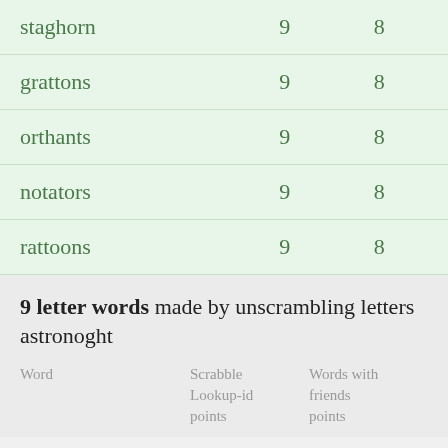| Word | Scrabble Lookup-id points | Words with friends points |
| --- | --- | --- |
| staghorn | 9 | 8 |
| grattons | 9 | 8 |
| orthants | 9 | 8 |
| notators | 9 | 8 |
| rattoons | 9 | 8 |
9 letter words made by unscrambling letters astronoght
| Word | Scrabble Lookup-id points | Words with friends points |
| --- | --- | --- |